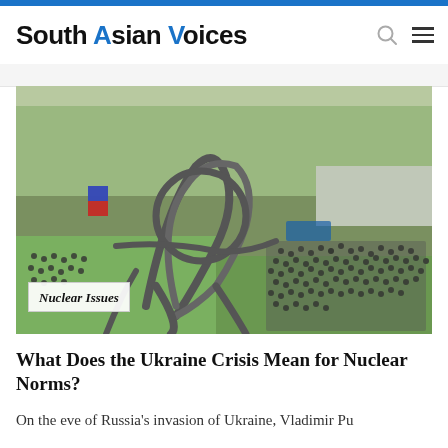South Asian Voices
[Figure (photo): Aerial view of a large metal abstract sculpture in a park with a crowd of people gathered around it. Trees in the background and a road visible. A flag is visible on the left side.]
Nuclear Issues
What Does the Ukraine Crisis Mean for Nuclear Norms?
On the eve of Russia's invasion of Ukraine, Vladimir Pu...